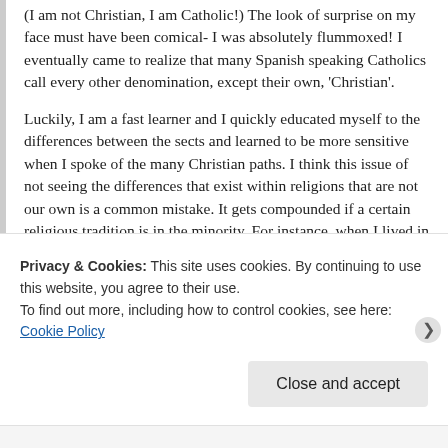(I am not Christian, I am Catholic!) The look of surprise on my face must have been comical- I was absolutely flummoxed! I eventually came to realize that many Spanish speaking Catholics call every other denomination, except their own, 'Christian'.
Luckily, I am a fast learner and I quickly educated myself to the differences between the sects and learned to be more sensitive when I spoke of the many Christian paths. I think this issue of not seeing the differences that exist within religions that are not our own is a common mistake. It gets compounded if a certain religious tradition is in the minority. For instance, when I lived in India, Christians were in the minority and as such they
Privacy & Cookies: This site uses cookies. By continuing to use this website, you agree to their use.
To find out more, including how to control cookies, see here: Cookie Policy
Close and accept